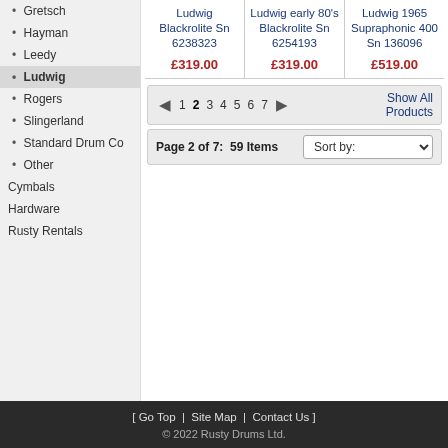Gretsch
Hayman
Leedy
Ludwig
Rogers
Slingerland
Standard Drum Co
Other
Cymbals
Hardware
Rusty Rentals
| Product | Price |
| --- | --- |
| Ludwig Blackrolite Sn 6238323 | £319.00 |
| Ludwig early 80's Blackrolite Sn 6254193 | £319.00 |
| Ludwig 1965 Supraphonic 400 Sn 136096 | £519.00 |
1 2 3 4 5 6 7   Show All Products
Page 2 of 7:  59 Items   Sort by:
[ Go Top | Site Map | Contact Us ]  © 2022 Rusty Drums Ltd.